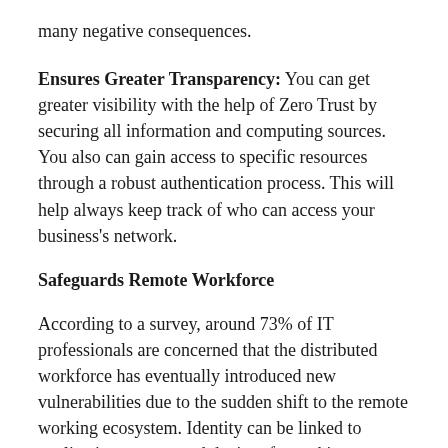many negative consequences.
Ensures Greater Transparency: You can get greater visibility with the help of Zero Trust by securing all information and computing sources. You also can gain access to specific resources through a robust authentication process. This will help always keep track of who can access your business's network.
Safeguards Remote Workforce
According to a survey, around 73% of IT professionals are concerned that the distributed workforce has eventually introduced new vulnerabilities due to the sudden shift to the remote working ecosystem. Identity can be linked to applications, users, and devices for seeking access, and augmenting security with the help of Zero Trust